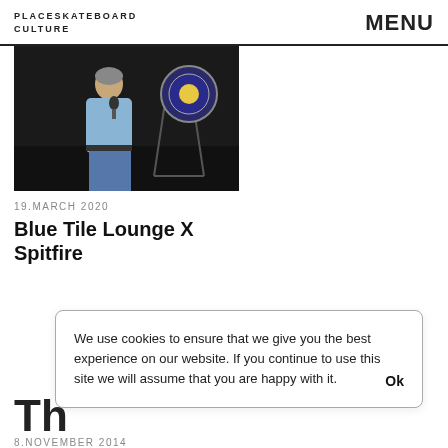PLACESKATEBOARD CULTURE   MENU
[Figure (photo): A man in a blue shirt holding a microphone on a dark stage, with a circular logo/emblem visible in the background on an easel.]
19.MARCH 2020
Blue Tile Lounge X Spitfire
We use cookies to ensure that we give you the best experience on our website. If you continue to use this site we will assume that you are happy with it.   Ok
Th
8.NOVEMBER 2014